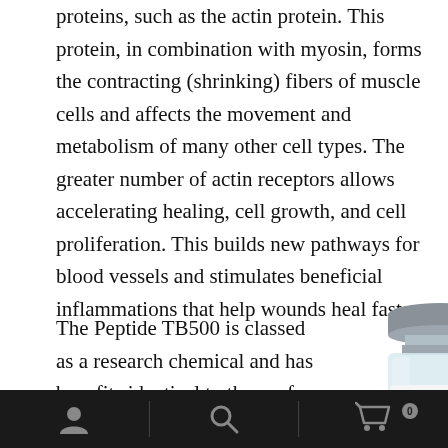proteins, such as the actin protein. This protein, in combination with myosin, forms the contracting (shrinking) fibers of muscle cells and affects the movement and metabolism of many other cell types. The greater number of actin receptors allows accelerating healing, cell growth, and cell proliferation. This builds new pathways for blood vessels and stimulates beneficial inflammations that help wounds heal faster.
The Peptide TB500 is classed as a research chemical and has benefits identical to those of growth hormone. This
[Figure (photo): A vial labeled TB-500 by Peptide Sciences. The vial has a grey rubber stopper cap, a clear glass body, and a white label with an orange banner at the bottom reading 'TB-500' in white text. Above the orange banner is a small orange icon and the text 'PEPTIDE SCIENCES' in grey capital letters.]
Navigation bar with user icon, search icon, and shopping cart icon with badge showing 0